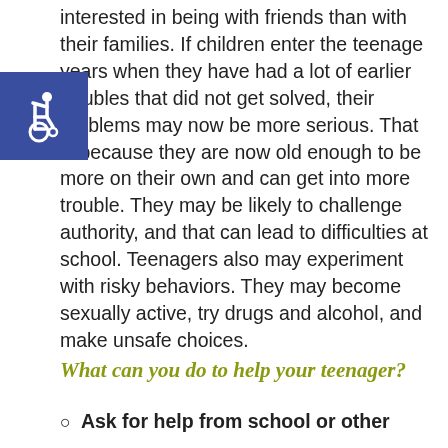interested in being with friends than with their families. If children enter the teenage years when they have had a lot of earlier troubles that did not get solved, their problems may now be more serious. That is because they are now old enough to be more on their own and can get into more trouble. They may be likely to challenge authority, and that can lead to difficulties at school. Teenagers also may experiment with risky behaviors. They may become sexually active, try drugs and alcohol, and make unsafe choices.
[Figure (illustration): Blue square accessibility icon with wheelchair symbol in white]
What can you do to help your teenager?
Ask for help from school or other